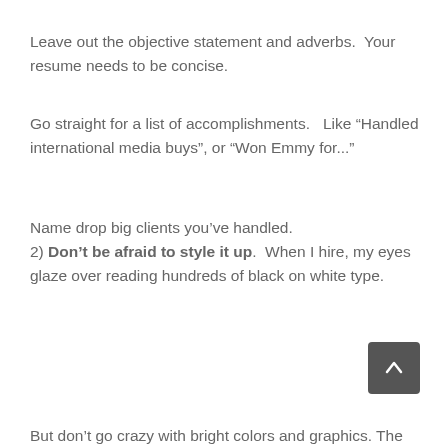Leave out the objective statement and adverbs.  Your resume needs to be concise.
Go straight for a list of accomplishments.   Like “Handled international media buys”, or “Won Emmy for...”
Name drop big clients you’ve handled.
2) Don’t be afraid to style it up.  When I hire, my eyes glaze over reading hundreds of black on white type.
But don’t go crazy with bright colors and graphics. The